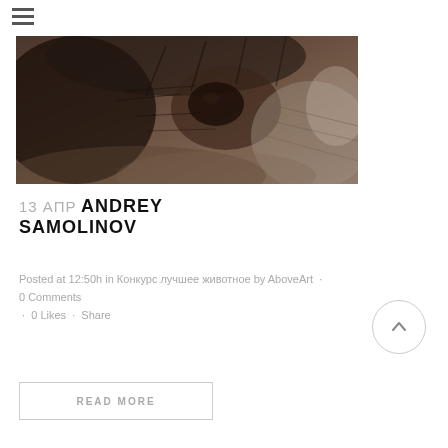[Figure (photo): Close-up sepia-toned photograph of an elephant's eye and wrinkled skin texture]
13 АПР ANDREY SAMOLINOV
Posted at 12:50h in Конкурс лучшее животное by AboveArt · 0 Comments · 0 Likes · Share
READ MORE